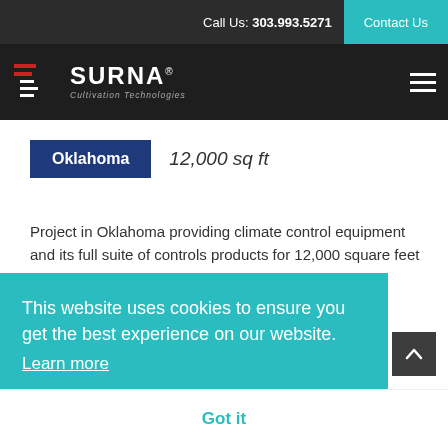Call Us: 303.993.5271 | Contact Us
[Figure (logo): Surna Cultivation Technologies logo with stylized red/white horizontal lines icon and white text]
Oklahoma  12,000 sq ft
Project in Oklahoma providing climate control equipment and its full suite of controls products for 12,000 square feet of cultivation space. Surna is
This website uses cookies to ensure you get the best experience on our website. Learn more
Got it